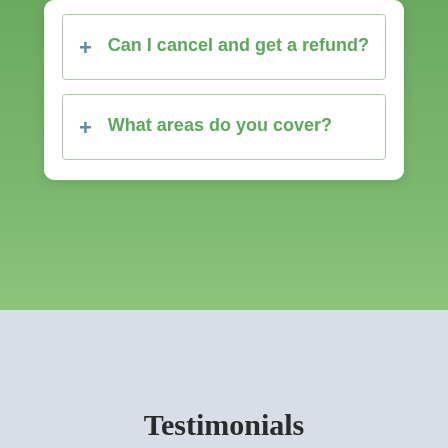+ Can I cancel and get a refund?
+ What areas do you cover?
Testimonials